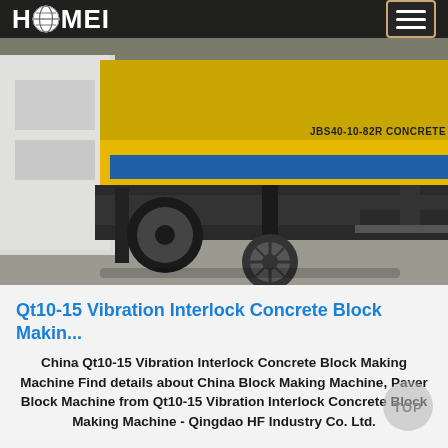[Figure (photo): Photo of a yellow JBS40-10-82R concrete pump truck parked on pavement, showing the lower body, tires, wheel casters, and structural frame. A white vehicle is partially visible on the left.]
Qt10-15 Vibration Interlock Concrete Block Makin...
China Qt10-15 Vibration Interlock Concrete Block Making Machine Find details about China Block Making Machine, Paver Block Machine from Qt10-15 Vibration Interlock Concrete Block Making Machine - Qingdao HF Industry Co. Ltd.